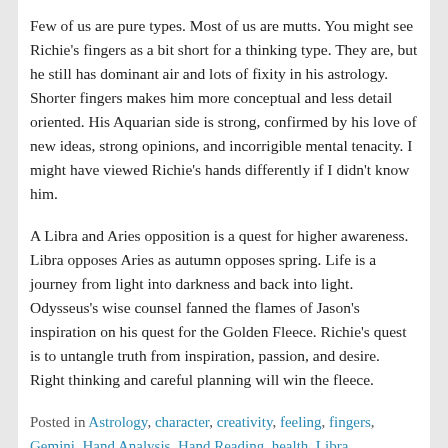Few of us are pure types. Most of us are mutts. You might see Richie's fingers as a bit short for a thinking type. They are, but he still has dominant air and lots of fixity in his astrology. Shorter fingers makes him more conceptual and less detail oriented. His Aquarian side is strong, confirmed by his love of new ideas, strong opinions, and incorrigible mental tenacity. I might have viewed Richie's hands differently if I didn't know him.
A Libra and Aries opposition is a quest for higher awareness. Libra opposes Aries as autumn opposes spring. Life is a journey from light into darkness and back into light. Odysseus's wise counsel fanned the flames of Jason's inspiration on his quest for the Golden Fleece. Richie's quest is to untangle truth from inspiration, passion, and desire. Right thinking and careful planning will win the fleece.
Posted in Astrology, character, creativity, feeling, fingers, Gemini, Hand Analysis, Hand Reading, health, Libra, marriage, Metaphysics, Mythology, Palmistry, Philosophy, Psychology, Self-help, spirituality, thinking, Truth, values |